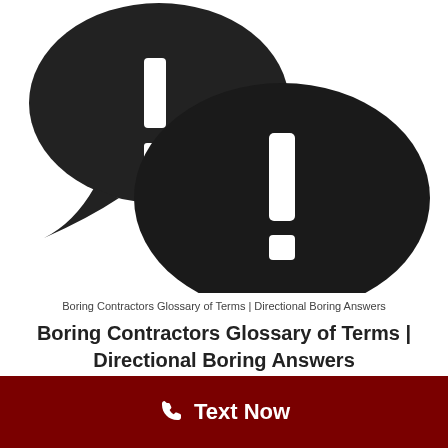[Figure (illustration): Two speech bubbles: a dark chat bubble with a question mark on the upper left, and a larger dark chat bubble with an exclamation mark on the lower right, representing Q&A or FAQ]
Boring Contractors Glossary of Terms | Directional Boring Answers
Boring Contractors Glossary of Terms | Directional Boring Answers
Text Now